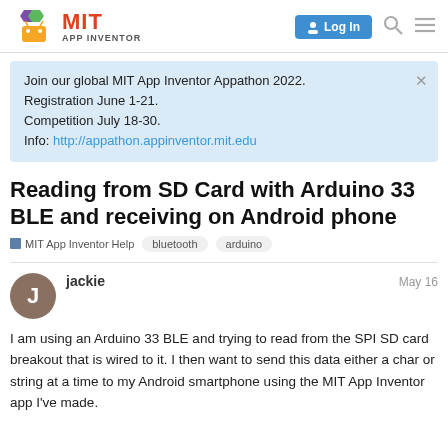MIT APP INVENTOR | Log In
Join our global MIT App Inventor Appathon 2022. Registration June 1-21. Competition July 18-30. Info: http://appathon.appinventor.mit.edu
Reading from SD Card with Arduino 33 BLE and receiving on Android phone
MIT App Inventor Help  bluetooth  arduino
jackie  May 16
I am using an Arduino 33 BLE and trying to read from the SPI SD card breakout that is wired to it. I then want to send this data either a char or string at a time to my Android smartphone using the MIT App Inventor app I've made.